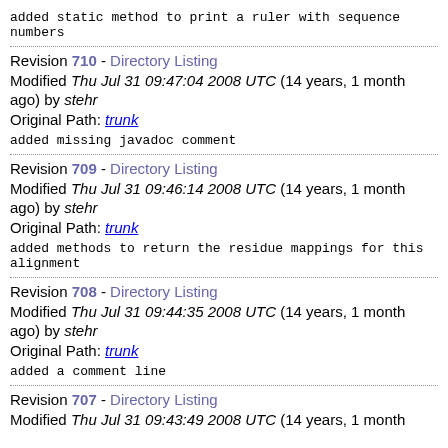added static method to print a ruler with sequence numbers
Revision 710 - Directory Listing
Modified Thu Jul 31 09:47:04 2008 UTC (14 years, 1 month ago) by stehr
Original Path: trunk
added missing javadoc comment
Revision 709 - Directory Listing
Modified Thu Jul 31 09:46:14 2008 UTC (14 years, 1 month ago) by stehr
Original Path: trunk
added methods to return the residue mappings for this alignment
Revision 708 - Directory Listing
Modified Thu Jul 31 09:44:35 2008 UTC (14 years, 1 month ago) by stehr
Original Path: trunk
added a comment line
Revision 707 - Directory Listing
Modified Thu Jul 31 09:43:49 2008 UTC (14 years, 1 month ago)